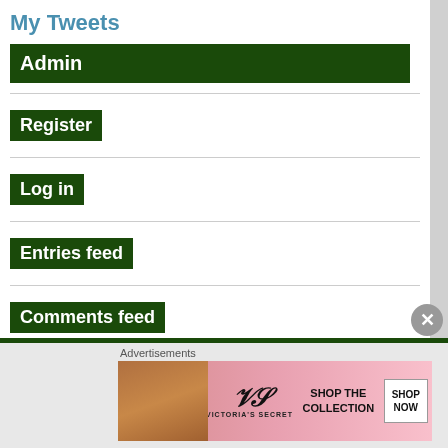My Tweets
Admin
Register
Log in
Entries feed
Comments feed
WordPress.org
CONTACT DETAILS
Advertisements
[Figure (photo): Victoria's Secret advertisement banner showing a model with text SHOP THE COLLECTION and SHOP NOW button]